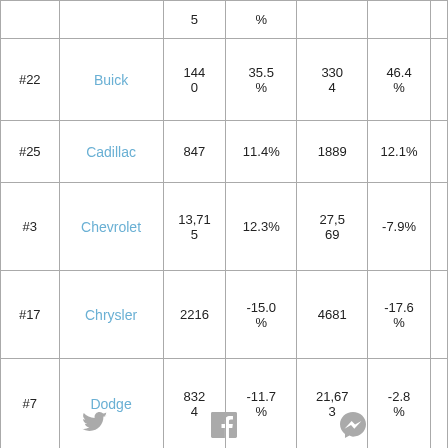| Rank | Brand | Value1 | Pct1 | Value2 | Pct2 |  |
| --- | --- | --- | --- | --- | --- | --- |
|  |  | 5 | % |  |  |  |
| #22 | Buick | 1440 | 35.5% | 3304 | 46.4% |  |
| #25 | Cadillac | 847 | 11.4% | 1889 | 12.1% |  |
| #3 | Chevrolet | 13,715 | 12.3% | 27,569 | -7.9% |  |
| #17 | Chrysler | 2216 | -15.0% | 4681 | -17.6% |  |
| #7 | Dodge | 8324 | -11.7% | 21,673 | -2.8% |  |
Twitter | Facebook | Messenger